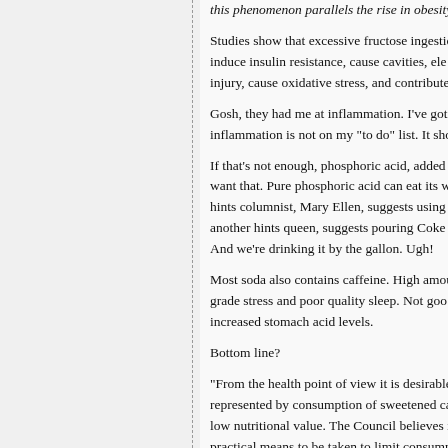this phenomenon parallels the rise in obesity.
Studies show that excessive fructose ingestion can induce insulin resistance, cause cavities, elevate injury, cause oxidative stress, and contribute...
Gosh, they had me at inflammation. I've got a inflammation is not on my "to do" list. It shou...
If that's not enough, phosphoric acid, added t want that. Pure phosphoric acid can eat its w hints columnist, Mary Ellen, suggests using C another hints queen, suggests pouring Coke And we're drinking it by the gallon. Ugh!
Most soda also contains caffeine. High amou grade stress and poor quality sleep. Not goo increased stomach acid levels.
Bottom line?
“From the health point of view it is desirable e represented by consumption of sweetened ca low nutritional value. The Council believes it w practical means to be taken to limit consump with significant proportions of other foods of h
The above statement was released in 1942 b and Nutrition. We should have paid attention. scrub well, and flush.
Go forth and drink water.
In good health,